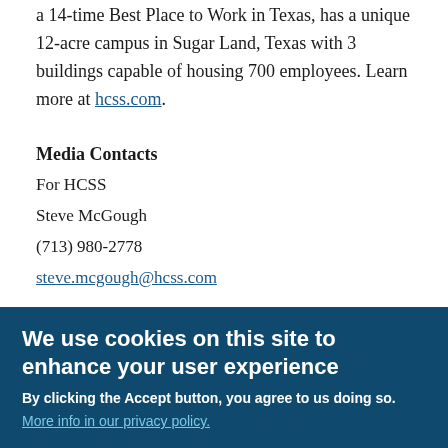a 14-time Best Place to Work in Texas, has a unique 12-acre campus in Sugar Land, Texas with 3 buildings capable of housing 700 employees. Learn more at hcss.com.
Media Contacts
For HCSS
Steve McGough
(713) 980-2778
steve.mcgough@hcss.com
We use cookies on this site to enhance your user experience
By clicking the Accept button, you agree to us doing so.
More info in our privacy policy.